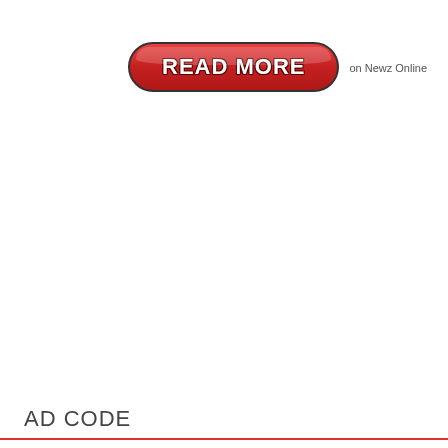[Figure (other): Red rounded button with bold white text 'READ MORE' and black outline, next to small text 'on Newz Online']
AD CODE